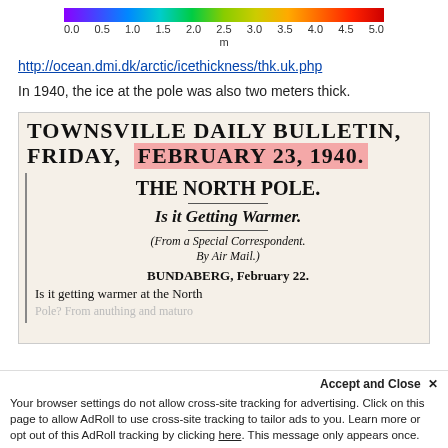[Figure (other): Horizontal colorbar ranging from purple/violet at 0.0 m to red at 5.0 m, with labeled ticks at 0.0, 0.5, 1.0, 1.5, 2.0, 2.5, 3.0, 3.5, 4.0, 4.5, 5.0 and unit label 'm']
http://ocean.dmi.dk/arctic/icethickness/thk.uk.php
In 1940, the ice at the pole was also two meters thick.
[Figure (photo): Scanned newspaper clipping: Townsville Daily Bulletin, Friday, February 23, 1940 with headline 'THE NORTH POLE. Is it Getting Warmer.' and dateline 'BUNDABERG, February 22. Is it getting warmer at the North [Pole?...]' February 23 1940 is highlighted in pink.]
Your browser settings do not allow cross-site tracking for advertising. Click on this page to allow AdRoll to use cross-site tracking to tailor ads to you. Learn more or opt out of this AdRoll tracking by clicking here. This message only appears once.